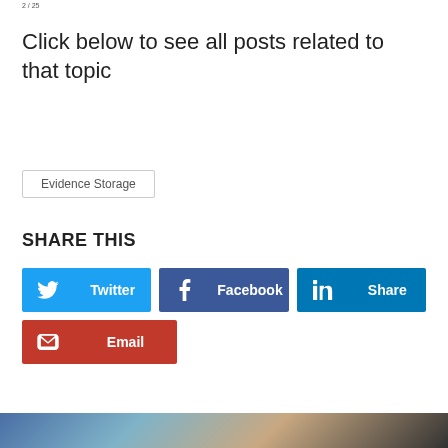Click below to see all posts related to that topic
Evidence Storage
SHARE THIS
[Figure (infographic): Social share buttons: Twitter (blue), Facebook (dark blue), LinkedIn Share (blue), Email (red)]
[Figure (photo): Partial photo at bottom of page]